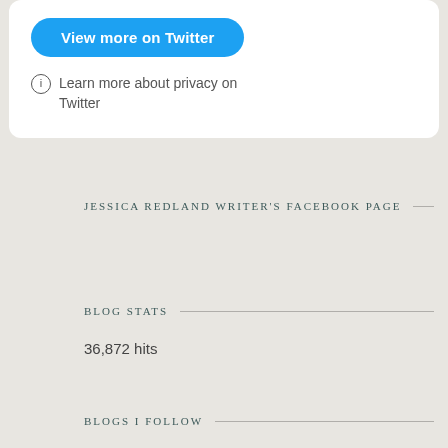[Figure (screenshot): Twitter embed card with a blue 'View more on Twitter' button and a privacy info link below it]
Learn more about privacy on Twitter
JESSICA REDLAND WRITER'S FACEBOOK PAGE
BLOG STATS
36,872 hits
BLOGS I FOLLOW